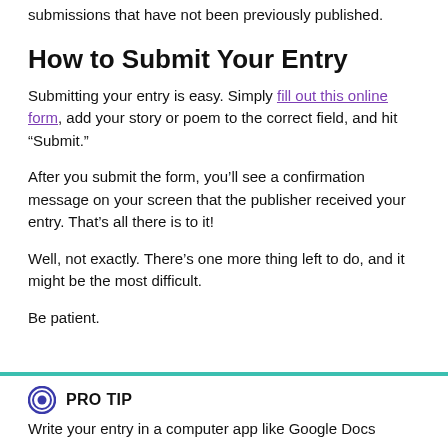submissions that have not been previously published.
How to Submit Your Entry
Submitting your entry is easy. Simply fill out this online form, add your story or poem to the correct field, and hit “Submit.”
After you submit the form, you’ll see a confirmation message on your screen that the publisher received your entry. That’s all there is to it!
Well, not exactly. There’s one more thing left to do, and it might be the most difficult.
Be patient.
PRO TIP
Write your entry in a computer app like Google Docs